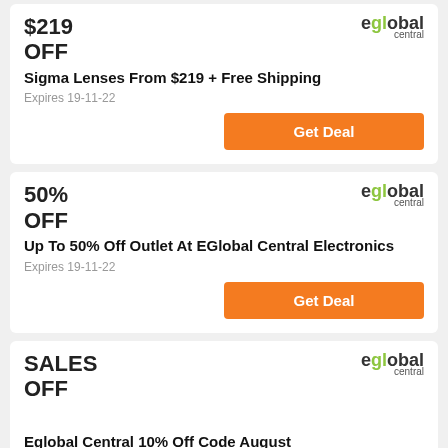$219
OFF
[Figure (logo): eGlobal Central logo]
Sigma Lenses From $219 + Free Shipping
Expires 19-11-22
Get Deal
50%
OFF
[Figure (logo): eGlobal Central logo]
Up To 50% Off Outlet At EGlobal Central Electronics
Expires 19-11-22
Get Deal
SALES
OFF
[Figure (logo): eGlobal Central logo]
Eglobal Central 10% Off Code August